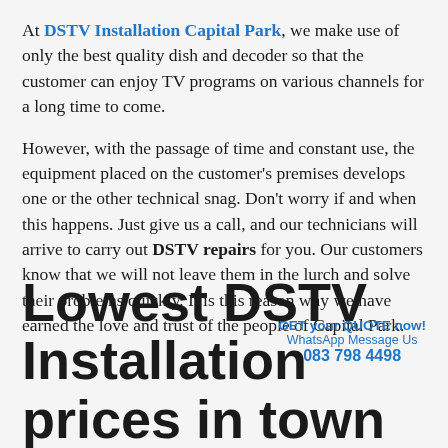At DSTV Installation Capital Park, we make use of only the best quality dish and decoder so that the customer can enjoy TV programs on various channels for a long time to come.
However, with the passage of time and constant use, the equipment placed on the customer's premises develops one or the other technical snag. Don't worry if and when this happens. Just give us a call, and our technicians will arrive to carry out DSTV repairs for you. Our customers know that we will not leave them in the lurch and solve their problems quickly. It is this reason why we have earned the love and trust of the people of Capital Park.
GET your QUOTE now!
WhatsApp Message Us
083 798 4498
Lowest DSTV Installation prices in town